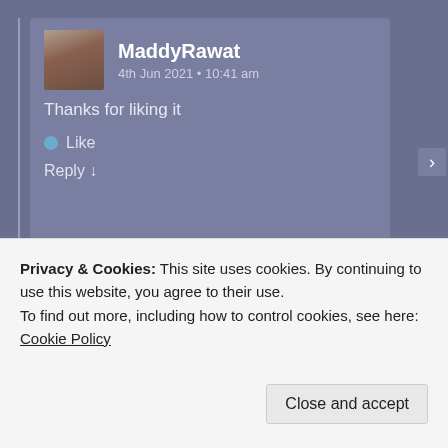MaddyRawat
4th Jun 2021 • 10:41 am
Thanks for liking it
Like
Reply ↓
prinki17O2
7th Jun 2021 • 8:20 pm
Privacy & Cookies: This site uses cookies. By continuing to use this website, you agree to their use.
To find out more, including how to control cookies, see here: Cookie Policy
Close and accept